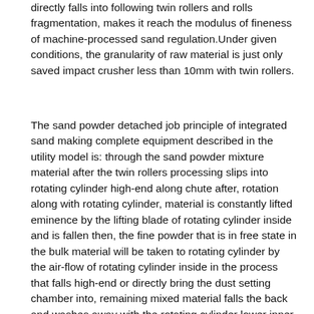directly falls into following twin rollers and rolls fragmentation, makes it reach the modulus of fineness of machine-processed sand regulation.Under given conditions, the granularity of raw material is just only saved impact crusher less than 10mm with twin rollers.
The sand powder detached job principle of integrated sand making complete equipment described in the utility model is: through the sand powder mixture material after the twin rollers processing slips into rotating cylinder high-end along chute after, rotation along with rotating cylinder, material is constantly lifted eminence by the lifting blade of rotating cylinder inside and is fallen then, the fine powder that is in free state in the bulk material will be taken to rotating cylinder by the air-flow of rotating cylinder inside in the process that falls high-end or directly bring the dust setting chamber into, remaining mixed material falls the back and washes away with the rotating cylinder lower inner wall or with the sand powder mixture material generation of bottom, by washing away, fine powder originally inter-adhesive or that stick on the particle will separate gradually, make its fine powder form free state, lifted eminence when falling by lifting blade once more